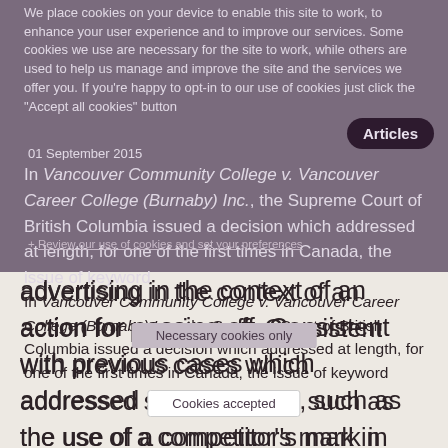We place cookies on your device to enable this site to work, to enhance your user experience and to improve our services. Some cookies we use are necessary for the site to work, while others are used to help us manage and improve the site and the services we offer you. If you're happy to opt-in to our use of cookies just click the "Accept all cookies" button
Articles
01 September 2015
In Vancouver Community College v. Vancouver Career College (Burnaby) Inc., the Supreme Court of British Columbia issued a decision which addressed at length, for one of the first times in Canada, the issue of keyword
Necessary cookies only
Cookies accepted
+ Review our use of cookies and set your preferences
advertising in the context of an action for passing off. Consistent with previous cases which addressed similar issues, such as the use of a competitor's mark in metatags, the Court found that the use of a competitor's trademark in keyword advertising did not constitute